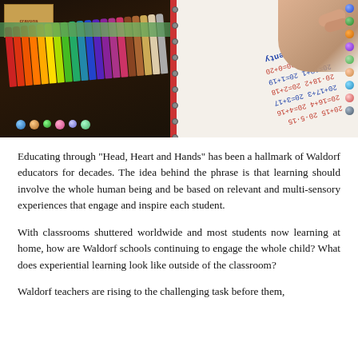[Figure (photo): Two-panel image: left panel shows rows of colorful crayons/markers arranged by color in a rainbow pattern in a storage tray; right panel shows a child's hand writing math equations on a whiteboard ('Making Twenty' with equations like 20=19+1, 20=18+2, etc.)]
Educating through "Head, Heart and Hands" has been a hallmark of Waldorf educators for decades. The idea behind the phrase is that learning should involve the whole human being and be based on relevant and multi-sensory experiences that engage and inspire each student.
With classrooms shuttered worldwide and most students now learning at home, how are Waldorf schools continuing to engage the whole child? What does experiential learning look like outside of the classroom?
Waldorf teachers are rising to the challenging task before them,